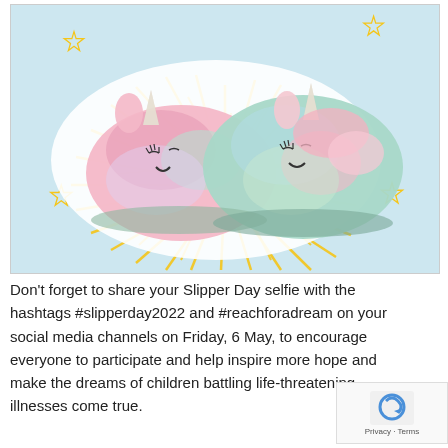[Figure (photo): Two fluffy unicorn slippers with rainbow-colored fur (pink, teal, pastel) and sewn-on smiling faces with closed eyes and tiny horns. They are displayed on a light blue background with golden sunburst rays radiating outward and small star outlines decorating the corners.]
Don't forget to share your Slipper Day selfie with the hashtags #slipperday2022 and #reachforadream on your social media channels on Friday, 6 May, to encourage everyone to participate and help inspire more hope and make the dreams of children battling life-threatening illnesses come true.